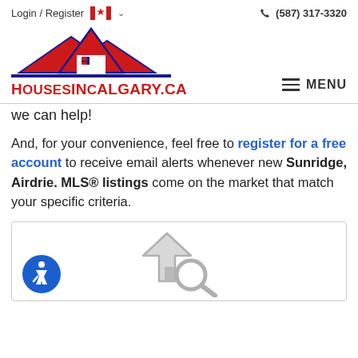Login / Register   (587) 317-3320
[Figure (logo): HousesInCalgary.ca logo with house roof shape in red and blue, site name in red uppercase letters, and hamburger menu button]
we can help!
And, for your convenience, feel free to register for a free account to receive email alerts whenever new Sunridge, Airdrie. MLS® listings come on the market that match your specific criteria.
[Figure (illustration): A house with a magnifying glass search icon in grey outline, inside a bordered box. Accessibility icon (blue circle with wheelchair symbol) in the bottom left.]